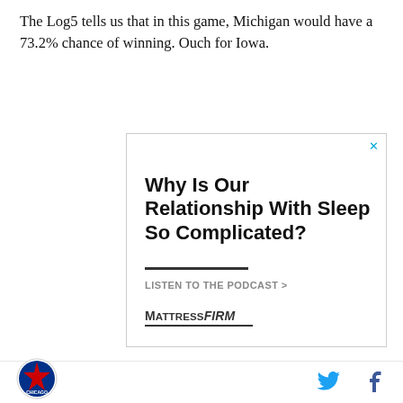The Log5 tells us that in this game, Michigan would have a 73.2% chance of winning. Ouch for Iowa.
[Figure (other): Advertisement for Mattress Firm podcast. Headline: 'Why Is Our Relationship With Sleep So Complicated?' with call to action 'LISTEN TO THE PODCAST >' and Mattress Firm logo.]
Perhaps the only thing that could save Iowa it seems would be some major intangible. Unfortunately for
Chicago logo, Twitter icon, Facebook icon